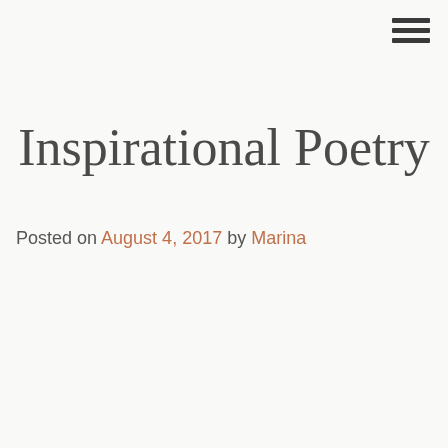[Figure (other): Hamburger menu icon with three horizontal lines in top-right corner]
Inspirational Poetry
Posted on August 4, 2017 by Marina